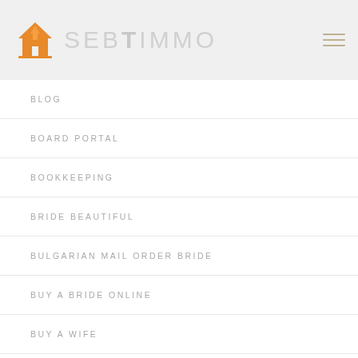[Figure (logo): SEBT IMMO logo with orange house/arrow icon and gray text]
BLOG
BOARD PORTAL
BOOKKEEPING
BRIDE BEAUTIFUL
BULGARIAN MAIL ORDER BRIDE
BUY A BRIDE ONLINE
BUY A WIFE